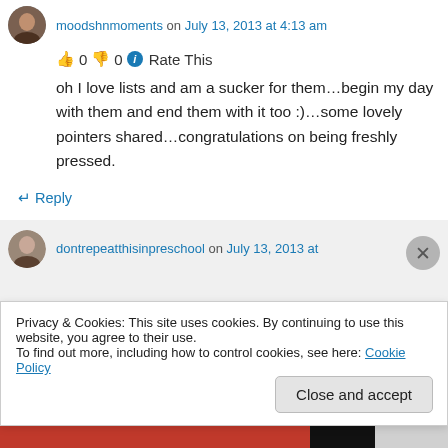moodshnmoments on July 13, 2013 at 4:13 am
👍 0 👎 0 ℹ Rate This
oh I love lists and am a sucker for them…begin my day with them and end them with it too :)…some lovely pointers shared…congratulations on being freshly pressed.
↵ Reply
dontrepeatthisinpreschool on July 13, 2013 at
Privacy & Cookies: This site uses cookies. By continuing to use this website, you agree to their use.
To find out more, including how to control cookies, see here: Cookie Policy
Close and accept